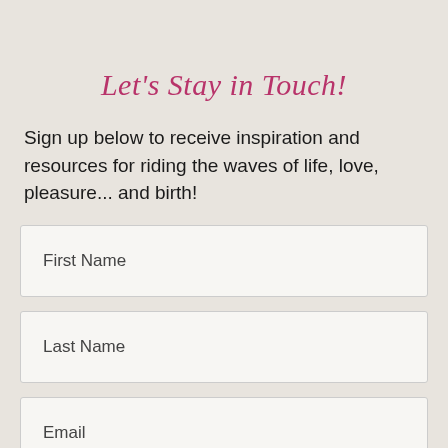Let's Stay in Touch!
Sign up below to receive inspiration and resources for riding the waves of life, love, pleasure... and birth!
First Name
Last Name
Email